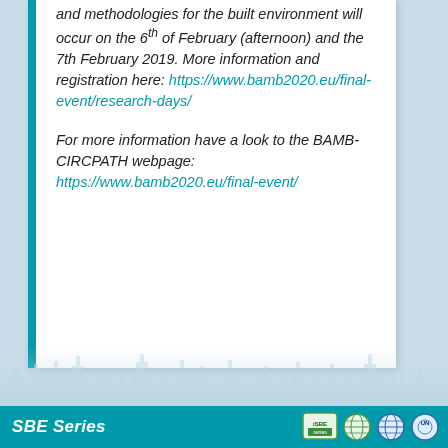and methodologies for the built environment will occur on the 6th of February (afternoon) and the 7th February 2019. More information and registration here: https://www.bamb2020.eu/final-event/research-days/
For more information have a look to the BAMB-CIRCPATH webpage: https://www.bamb2020.eu/final-event/
SBE Series